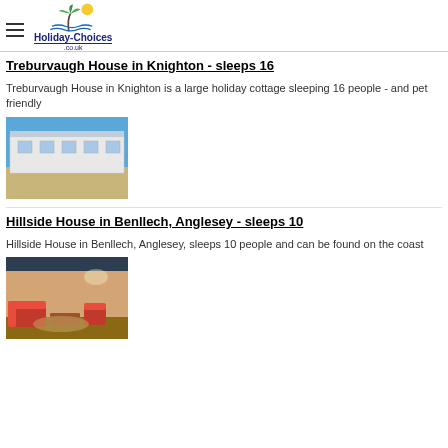Holiday-Choices.co.uk
Treburvaugh House in Knighton - sleeps 16
Treburvaugh House in Knighton is a large holiday cottage sleeping 16 people - and pet friendly
[Figure (photo): Exterior photo of Treburvaugh House showing a large white building under a blue sky with sandy ground in front]
Hillside House in Benllech, Anglesey - sleeps 10
Hillside House in Benllech, Anglesey, sleeps 10 people and can be found on the coast
[Figure (photo): Interior photo of Hillside House showing a living room with red sofas and warm lighting]